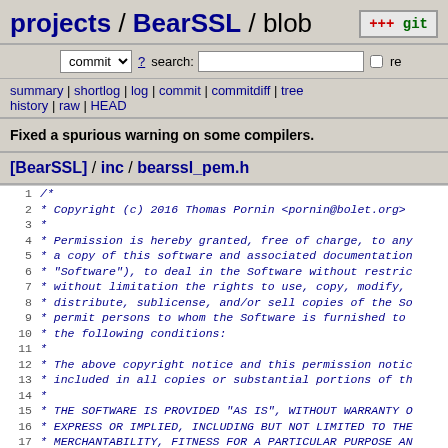projects / BearSSL / blob
commit ? search: re
summary | shortlog | log | commit | commitdiff | tree history | raw | HEAD
Fixed a spurious warning on some compilers.
[BearSSL] / inc / bearssl_pem.h
1 /*
2  * Copyright (c) 2016 Thomas Pornin <pornin@bolet.org>
3  *
4  * Permission is hereby granted, free of charge, to any
5  * a copy of this software and associated documentation
6  * "Software"), to deal in the Software without restric
7  * without limitation the rights to use, copy, modify,
8  * distribute, sublicense, and/or sell copies of the So
9  * permit persons to whom the Software is furnished to
10  * the following conditions:
11  *
12  * The above copyright notice and this permission notic
13  * included in all copies or substantial portions of th
14  *
15  * THE SOFTWARE IS PROVIDED "AS IS", WITHOUT WARRANTY O
16  * EXPRESS OR IMPLIED, INCLUDING BUT NOT LIMITED TO THE
17  * MERCHANTABILITY, FITNESS FOR A PARTICULAR PURPOSE AN
18  * NONINFRINGEMENT. IN NO EVENT SHALL THE AUTHORS OR CO
19  * BE LIABLE FOR ANY CLAIM, DAMAGES OR OTHER LIABILITY